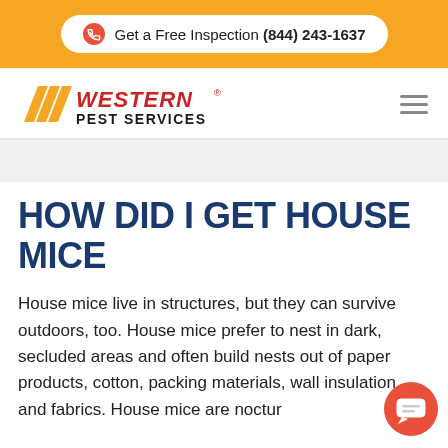Get a Free Inspection (844) 243-1637
[Figure (logo): Western Pest Services logo with orange parallelogram slashes and red/black text]
HOW DID I GET HOUSE MICE
House mice live in structures, but they can survive outdoors, too. House mice prefer to nest in dark, secluded areas and often build nests out of paper products, cotton, packing materials, wall insulation, and fabrics. House mice are noctur...